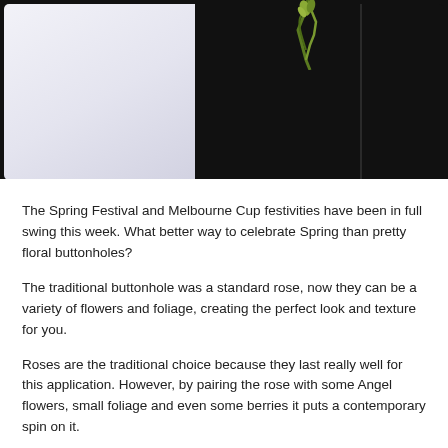[Figure (photo): Close-up photo of a floral buttonhole against a black background, with a white/light purple area on the left side and a green stem/flower visible at the top center.]
The Spring Festival and Melbourne Cup festivities have been in full swing this week. What better way to celebrate Spring than pretty floral buttonholes?
The traditional buttonhole was a standard rose, now they can be a variety of flowers and foliage, creating the perfect look and texture for you.
Roses are the traditional choice because they last really well for this application. However, by pairing the rose with some Angel flowers, small foliage and even some berries it puts a contemporary spin on it.
Singapore Orchids are perfect for buttonholes with them being long-lasting and withstanding of hot conditions you’ll look flawless all day. They look clean, classic and elegant.